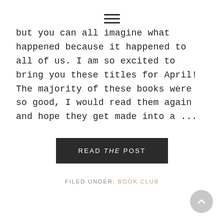≡ (hamburger menu icon)
but you can all imagine what happened because it happened to all of us. I am so excited to bring you these titles for April! The majority of these books were so good, I would read them again and hope they get made into a ...
READ THE POST
FILED UNDER: BOOK CLUB